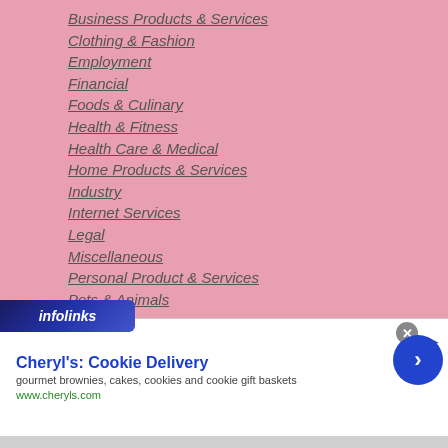Business Products & Services
Clothing & Fashion
Employment
Financial
Foods & Culinary
Health & Fitness
Health Care & Medical
Home Products & Services
Industry
Internet Services
Legal
Miscellaneous
Personal Product & Services
Pets & Animals
[Figure (logo): infolinks logo bar]
Cheryl's: Cookie Delivery
gourmet brownies, cakes, cookies and cookie gift baskets
www.cheryls.com